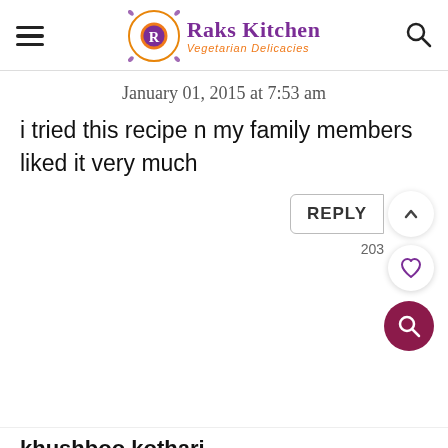Raks Kitchen – Vegetarian Delicacies
January 01, 2015 at 7:53 am
i tried this recipe n my family members liked it very much
REPLY
203
khushboo kothari
April 01, 2015 at 1:06 pm
Gulab jamun balls melted in...